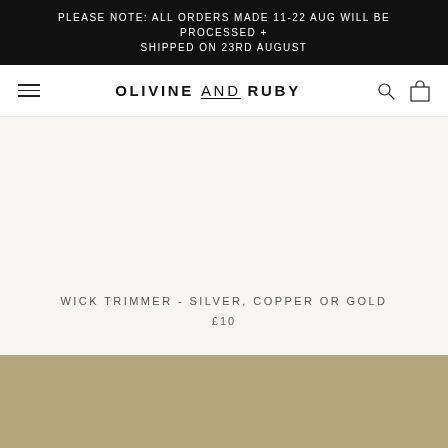PLEASE NOTE: ALL ORDERS MADE 11-22 AUG WILL BE PROCESSED + SHIPPED ON 23RD AUGUST
OLIVINE AND RUBY
[Figure (illustration): Product image area - light beige/cream background, no product visible in this crop]
WICK TRIMMER - SILVER, COPPER OR GOLD
£10
[Figure (photo): Gold/tan colored banner section at the bottom of the page]